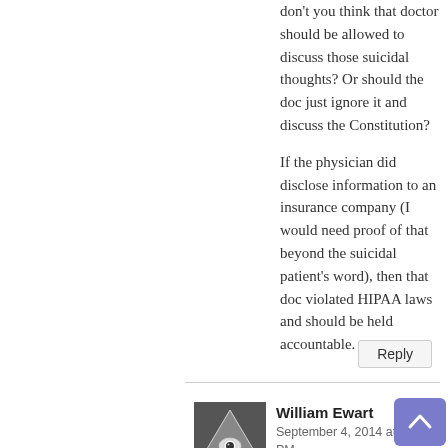don't you think that doctor should be allowed to discuss those suicidal thoughts? Or should the doc just ignore it and discuss the Constitution?
If the physician did disclose information to an insurance company (I would need proof of that beyond the suicidal patient's word), then that doc violated HIPAA laws and should be held accountable.
Reply
William Ewart
September 4, 2014 at 1:10 PM
[Figure (illustration): Avatar image showing an illuminati-style triangle with an eye inside, on a dark background]
“The right to privacy would also include taking off your shirt during an exam.”
No, that is need for a medical examination, but asking if I own a firearm is not.